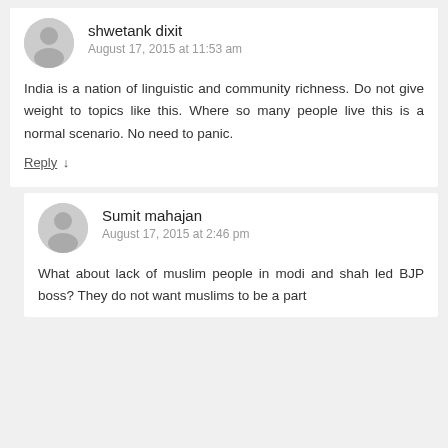shwetank dixit
August 17, 2015 at 11:53 am
India is a nation of linguistic and community richness. Do not give weight to topics like this. Where so many people live this is a normal scenario. No need to panic.
Reply ↓
Sumit mahajan
August 17, 2015 at 2:46 pm
What about lack of muslim people in modi and shah led BJP boss? They do not want muslims to be a part